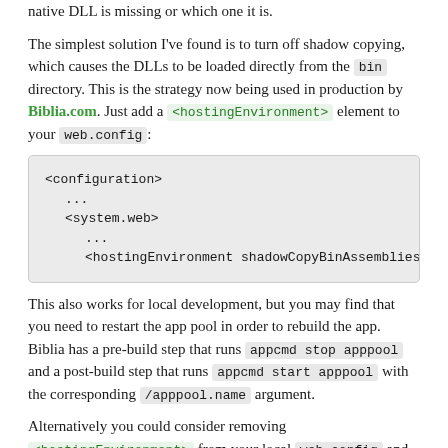native DLL is missing or which one it is.
The simplest solution I've found is to turn off shadow copying, which causes the DLLs to be loaded directly from the bin directory. This is the strategy now being used in production by Biblia.com. Just add a <hostingEnvironment> element to your web.config:
[Figure (screenshot): Code block showing XML configuration with <configuration>, ..., <system.web>, ..., <hostingEnvironment shadowCopyBinAssemblies=...]
This also works for local development, but you may find that you need to restart the app pool in order to rebuild the app. Biblia has a pre-build step that runs appcmd stop apppool and a post-build step that runs appcmd start apppool with the corresponding /apppool.name argument.
Alternatively you could consider removing <hostingEnvironment> from your local web.config and